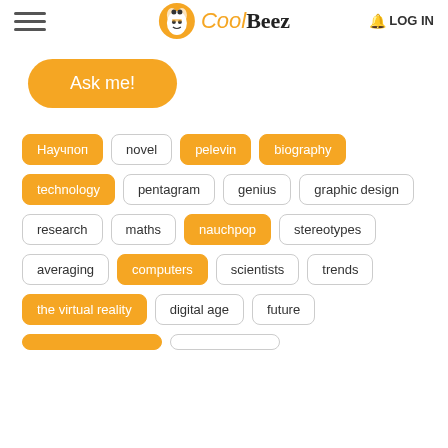CoolBeez — LOG IN
Ask me!
Научпоп
novel
pelevin
biography
technology
pentagram
genius
graphic design
research
maths
nauchpop
stereotypes
averaging
computers
scientists
trends
the virtual reality
digital age
future